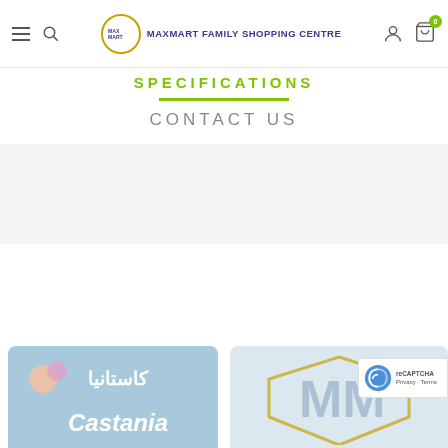MAXMART FAMILY SHOPPING CENTRE
SPECIFICATIONS
CONTACT US
[Figure (logo): Castania brand logo on blue background with Arabic text]
[Figure (logo): Maxmart logo on light blue/grey background]